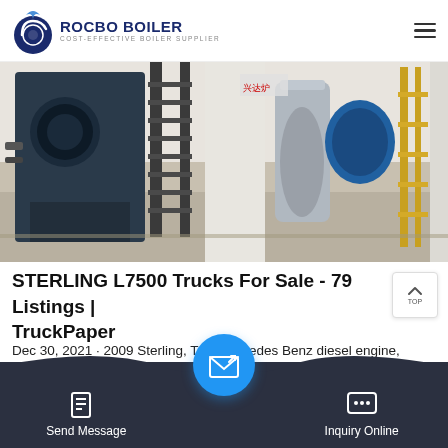ROCBO BOILER - COST-EFFECTIVE BOILER SUPPLIER
[Figure (photo): Industrial boiler room with multiple boilers, metal staircases, pipes, and equipment in a factory setting. Dark blue boiler on the left, silver cylindrical tanks, yellow scaffolding on the right.]
STERLING L7500 Trucks For Sale - 79 Listings | TruckPaper
Dec 30, 2021 · 2009 Sterling, T/A, Mercedes Benz diesel engine, automatic transmission, c/w Vac-Con model V311LHAE/1300 hydro vac system, Hotsy 35000 diesel fired hot water boiler